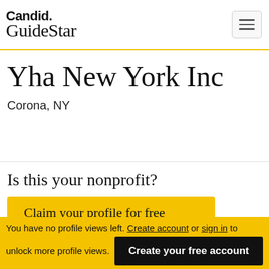Candid. GuideStar
Yha New York Inc
Corona, NY
Is this your nonprofit?
Claim your profile for free
You have no profile views left. Create account or sign in to unlock more profile views.
Create your free account